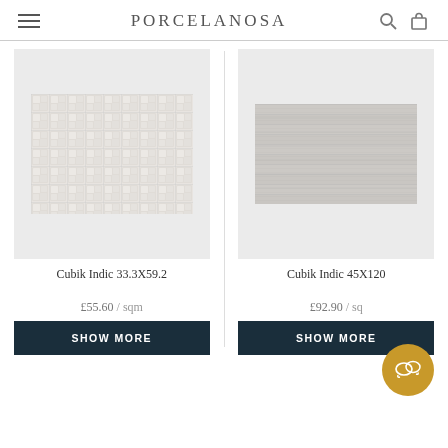PORCELANOSA
[Figure (photo): Cubik Indic 33.3X59.2 tile product image showing white 3D raised square mosaic pattern]
Cubik Indic 33.3X59.2
£55.60 / sqm
[Figure (photo): Cubik Indic 45X120 tile product image showing grey textured rectangular stone-like tile]
Cubik Indic 45X120
£92.90 / sqm